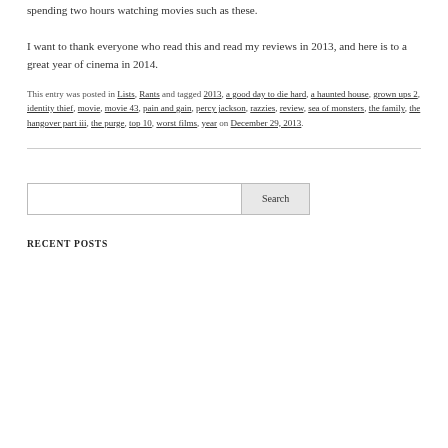spending two hours watching movies such as these.
I want to thank everyone who read this and read my reviews in 2013, and here is to a great year of cinema in 2014.
This entry was posted in Lists, Rants and tagged 2013, a good day to die hard, a haunted house, grown ups 2, identity thief, movie, movie 43, pain and gain, percy jackson, razzies, review, sea of monsters, the family, the hangover part iii, the purge, top 10, worst films, year on December 29, 2013.
Search
RECENT POSTS